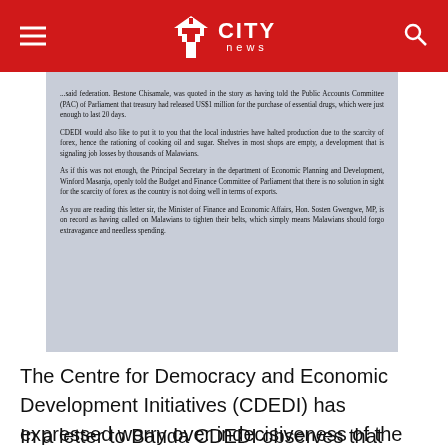CITY news
[Figure (photo): Photo of a printed letter document from CDEDI discussing forex scarcity, halted production, and calls for belt-tightening by Malawians, referencing the Public Accounts Committee of Parliament and the Budget and Finance Committee of Parliament.]
The Centre for Democracy and Economic Development Initiatives (CDEDI) has expressed worry over indecisiveness of the country's central bank under the leadership of Governor Wilson Banda.
In a letter to Banda CDEDI observes that RBM has run out of ideas, under his leadership and that in the interest of